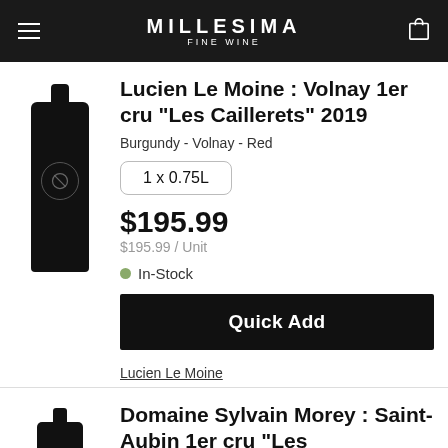MILLESIMA FINE WINE
Lucien Le Moine : Volnay 1er cru "Les Caillerets" 2019
Burgundy - Volnay - Red
1 x 0.75L
$195.99
$195.99 / Unit
In-Stock
Quick Add
Lucien Le Moine
Domaine Sylvain Morey : Saint-Aubin 1er cru "Les